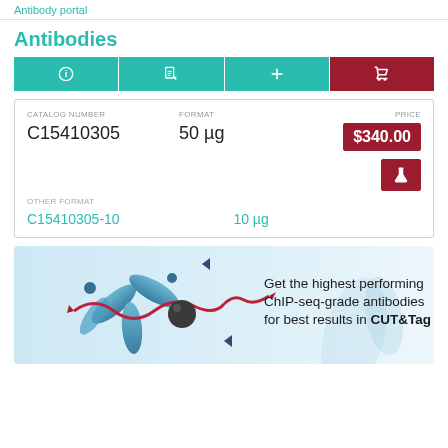Antibody portal
Antibodies
| Catalog Number | Format | Price |
| --- | --- | --- |
| C15410305 | 50 µg | $340.00 |
Other format
C15410305-10  10 µg
[Figure (illustration): Promotional banner showing antibody illustration with text: Get the highest performing ChIP-seq-grade antibodies for best results in CUT&Tag]